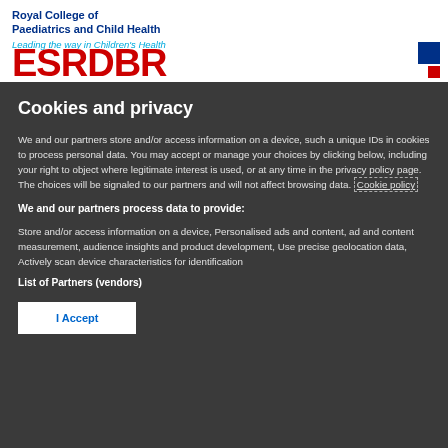Royal College of Paediatrics and Child Health
Leading the way in Children's Health
[Figure (logo): ESRDRR logo with red letters and blue squares, partially visible]
Cookies and privacy
We and our partners store and/or access information on a device, such a unique IDs in cookies to process personal data. You may accept or manage your choices by clicking below, including your right to object where legitimate interest is used, or at any time in the privacy policy page. These choices will be signaled to our partners and will not affect browsing data. Cookie policy
We and our partners process data to provide:
Store and/or access information on a device, Personalised ads and content, ad and content measurement, audience insights and product development, Use precise geolocation data, Actively scan device characteristics for identification
List of Partners (vendors)
I Accept